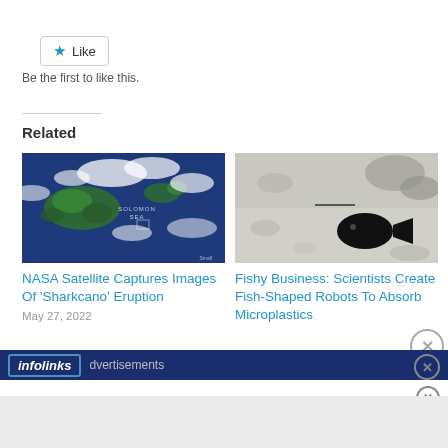[Figure (other): Like button with blue star icon and 'Like' text in a bordered rounded rectangle]
Be the first to like this.
Related
[Figure (photo): NASA satellite image of Solomon Sea area showing islands, ocean, and clouds from space]
NASA Satellite Captures Images Of 'Sharkcano' Eruption
[Figure (photo): Black fish-shaped robot on a light background with microplastics]
Fishy Business: Scientists Create Fish-Shaped Robots To Absorb Microplastics
infolinks  dvertisements